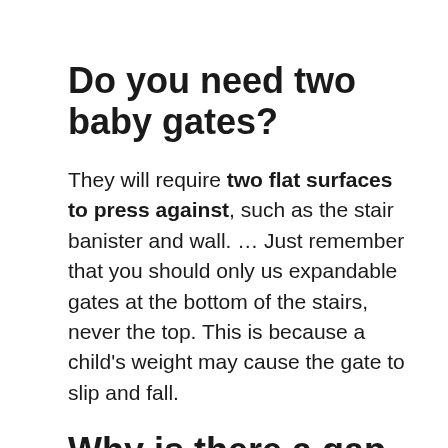Do you need two baby gates?
They will require two flat surfaces to press against, such as the stair banister and wall. … Just remember that you should only us expandable gates at the bottom of the stairs, never the top. This is because a child's weight may cause the gate to slip and fall.
Why is there a gap in my baby gate?
This is NOT a defect, it's just the way your